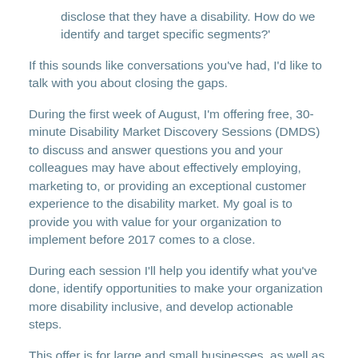disclose that they have a disability. How do we identify and target specific segments?'
If this sounds like conversations you've had, I'd like to talk with you about closing the gaps.
During the first week of August, I'm offering free, 30-minute Disability Market Discovery Sessions (DMDS) to discuss and answer questions you and your colleagues may have about effectively employing, marketing to, or providing an exceptional customer experience to the disability market. My goal is to provide you with value for your organization to implement before 2017 comes to a close.
During each session I'll help you identify what you've done, identify opportunities to make your organization more disability inclusive, and develop actionable steps.
This offer is for large and small businesses, as well as non-profits and government agencies.  Disability Market Discovery Sessions are no cost to you, and scheduled on a first-come, first-served